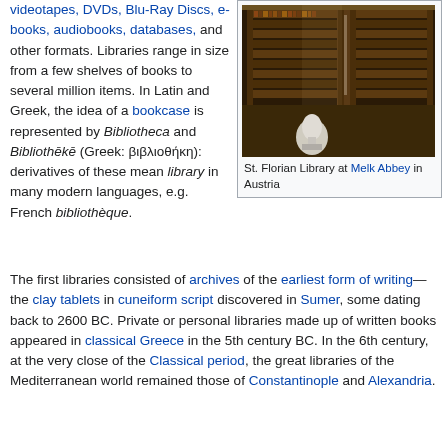videotapes, DVDs, Blu-Ray Discs, e-books, audiobooks, databases, and other formats. Libraries range in size from a few shelves of books to several million items. In Latin and Greek, the idea of a bookcase is represented by Bibliotheca and Bibliothēkē (Greek: βιβλιοθήκη): derivatives of these mean library in many modern languages, e.g. French bibliothèque.
[Figure (photo): Interior of St. Florian Library at Melk Abbey in Austria, showing tall dark wooden bookshelves filled with old books, and a white marble bust in the foreground.]
St. Florian Library at Melk Abbey in Austria
The first libraries consisted of archives of the earliest form of writing—the clay tablets in cuneiform script discovered in Sumer, some dating back to 2600 BC. Private or personal libraries made up of written books appeared in classical Greece in the 5th century BC. In the 6th century, at the very close of the Classical period, the great libraries of the Mediterranean world remained those of Constantinople and Alexandria.